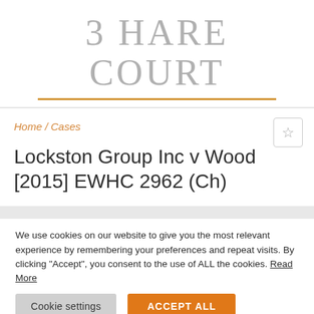3 HARE COURT
Home / Cases
Lockston Group Inc v Wood [2015] EWHC 2962 (Ch)
We use cookies on our website to give you the most relevant experience by remembering your preferences and repeat visits. By clicking "Accept", you consent to the use of ALL the cookies. Read More